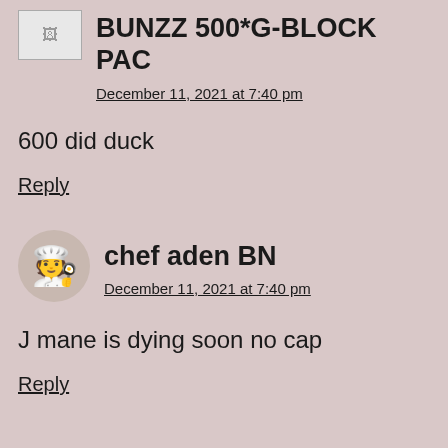BUNZZ 500*G-BLOCK PAC
December 11, 2021 at 7:40 pm
600 did duck
Reply
chef aden BN
December 11, 2021 at 7:40 pm
J mane is dying soon no cap
Reply